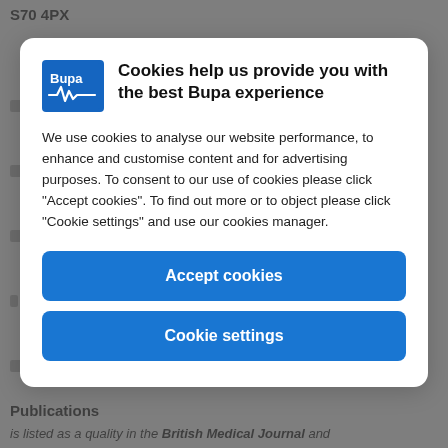S70 4PX
[Figure (screenshot): Bupa cookie consent modal dialog with logo, title 'Cookies help us provide you with the best Bupa experience', explanatory text, and two buttons: 'Accept cookies' and 'Cookie settings']
Publications
is listed as a quality in the British Medical Journal and